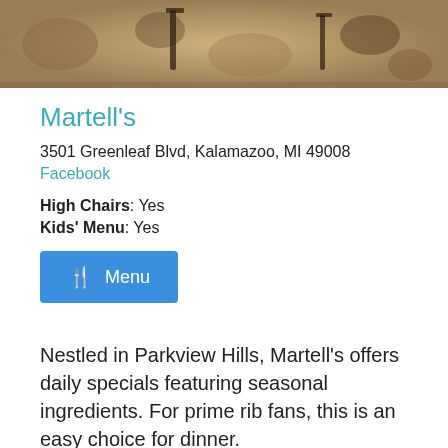[Figure (photo): Outdoor patio area with dappled sunlight and chairs, viewed from above]
Martell's
3501 Greenleaf Blvd, Kalamazoo, MI 49008
Facebook
High Chairs: Yes
Kids' Menu: Yes
[Figure (other): Blue button with fork/knife icon and text 'Menu']
Nestled in Parkview Hills, Martell's offers daily specials featuring seasonal ingredients. For prime rib fans, this is an easy choice for dinner.
Sit outside and enjoy the quiet atmosphere next to Willow Lake on their recently expanded patio